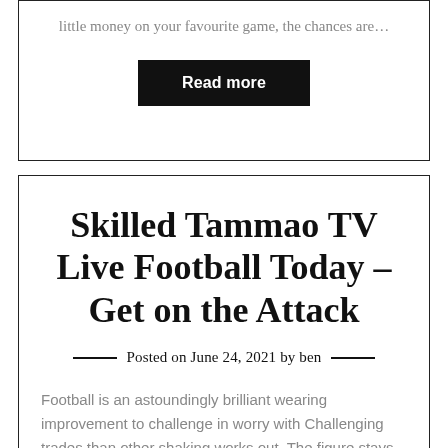little money on your favourite game, the chances are…
Read more
Skilled Tammao TV Live Football Today – Get on the Attack
Posted on June 24, 2021 by ben
Football is an astoundingly brilliant wearing improvement to challenge in worry with Challenging trades than other shaking works out. The figure stays